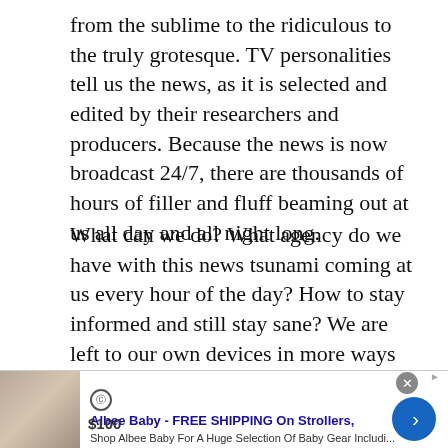from the sublime to the ridiculous to the truly grotesque. TV personalities tell us the news, as it is selected and edited by their researchers and producers. Because the news is now broadcast 24/7, there are thousands of hours of filler and fluff beaming out at us all day and all night long.
What can we do? What agency do we have with this news tsunami coming at us every hour of the day? How to stay informed and still stay sane? We are left to our own devices in more ways than one, and we need to do the most difficult thing, which is to find balance.
[Figure (screenshot): Advertisement banner for Albee Baby - FREE SHIPPING On Strollers. Shows logo, $100 price, shop description text, www.albeebaby.com URL, and a blue circular CTA button with arrow. Close button (x) in top right corner.]